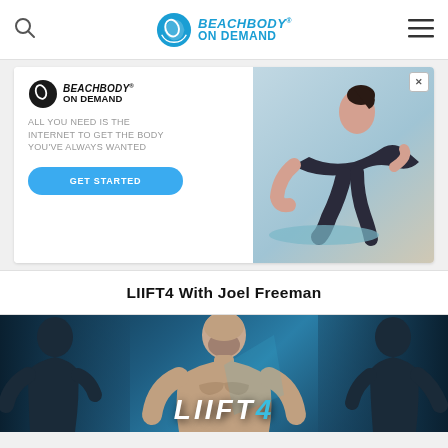Beachbody On Demand
[Figure (illustration): Beachbody On Demand advertisement banner. Left side: Beachbody On Demand logo, tagline 'ALL YOU NEED IS THE INTERNET TO GET THE BODY YOU'VE ALWAYS WANTED', blue GET STARTED button. Right side: woman in workout clothes in plank position on a yoga mat.]
LIIFT4 With Joel Freeman
[Figure (photo): LIIFT4 promotional image featuring Joel Freeman (muscular male fitness trainer) in center, with darker silhouettes of muscular figures on left and right. LIIFT4 logo text visible at bottom.]